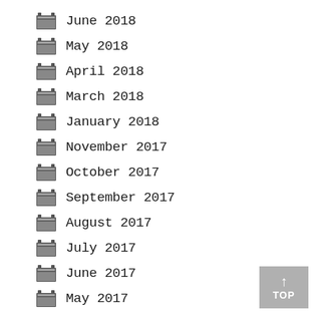June 2018
May 2018
April 2018
March 2018
January 2018
November 2017
October 2017
September 2017
August 2017
July 2017
June 2017
May 2017
April 2017
March 2017
February 2017